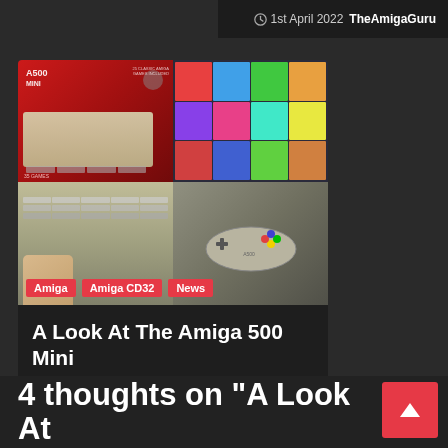1st April 2022  TheAmigaGuru
[Figure (photo): Amiga 500 Mini product photo showing the mini computer keyboard and game controller, with game box art collage in background, tagged with Amiga, Amiga CD32, News]
A Look At The Amiga 500 Mini
22nd March 2022  TheAmigaGuru
4 thoughts on “A Look At